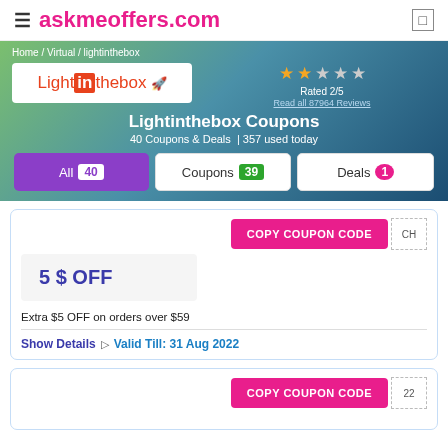askmeoffers.com
Home / Virtual / lightinthebox
[Figure (logo): Lightinthebox logo - orange text with 'in' in orange box, small rocket icon]
Rated 2/5
Read all 87964 Reviews
Lightinthebox Coupons
40 Coupons & Deals  | 357 used today
All 40   Coupons 39   Deals 1
COPY COUPON CODE
5 $ OFF
Extra $5 OFF on orders over $59
Show Details  ▷  Valid Till: 31 Aug 2022
COPY COUPON CODE